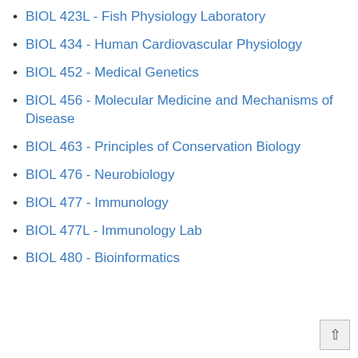BIOL 423L  - Fish Physiology Laboratory
BIOL 434  - Human Cardiovascular Physiology
BIOL 452  - Medical Genetics
BIOL 456  - Molecular Medicine and Mechanisms of Disease
BIOL 463  - Principles of Conservation Biology
BIOL 476  - Neurobiology
BIOL 477  - Immunology
BIOL 477L  - Immunology Lab
BIOL 480  - Bioinformatics